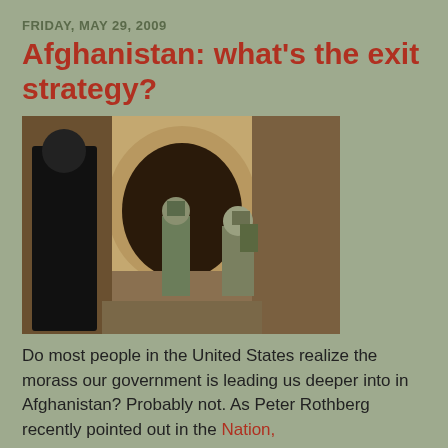FRIDAY, MAY 29, 2009
Afghanistan: what's the exit strategy?
[Figure (photo): Soldiers in military gear patrolling a Middle Eastern alleyway with stone archways; a woman in black clothing stands to the left.]
Do most people in the United States realize the morass our government is leading us deeper into in Afghanistan? Probably not. As Peter Rothberg recently pointed out in the Nation,
... recent estimates of coverage by major news outlets report that a scant 0.6 percent of reporting has been devoted to